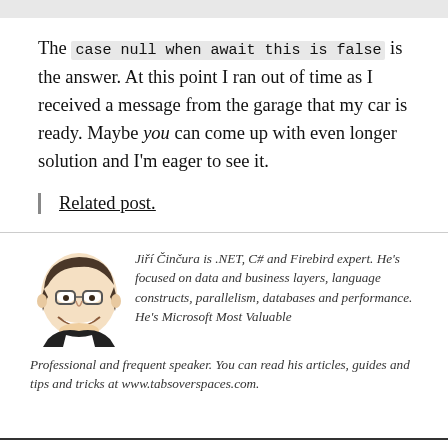The case null when await this is false is the answer. At this point I ran out of time as I received a message from the garage that my car is ready. Maybe you can come up with even longer solution and I'm eager to see it.
Related post.
[Figure (illustration): Caricature illustration of Jiří Činčura, a man with glasses and dark hair, smiling]
Jiří Činčura is .NET, C# and Firebird expert. He's focused on data and business layers, language constructs, parallelism, databases and performance. He's Microsoft Most Valuable Professional and frequent speaker. You can read his articles, guides and tips and tricks at www.tabsoverspaces.com.